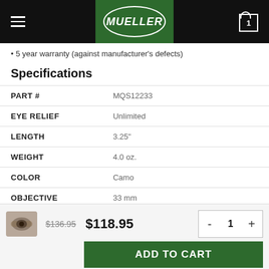Mueller — navigation header with hamburger menu, Mueller logo, and cart icon showing 1 item
5 year warranty (against manufacturer's defects)
Specifications
| Attribute | Value |
| --- | --- |
| PART # | MQS12233 |
| EYE RELIEF | Unlimited |
| LENGTH | 3.25" |
| WEIGHT | 4.0 oz. |
| COLOR | Camo |
| OBJECTIVE | 33 mm |
$136.95  $118.95  -  1  +  ADD TO CART